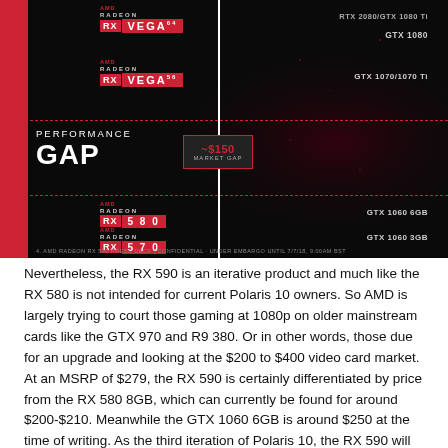[Figure (infographic): AMD Radeon RX Vega 64 and Vega 56 shown on left side with GTX 2080/GTX 1080 Ti and GTX 1080 on right, and a ~$150 market gap highlighted. Below, RX 580 vs GTX 1060 6GB and RX 570 vs GTX 1060 3GB shown. Performance Gap label on left. Red dashed lines indicate segment boundaries. AMD marketing slide.]
Nevertheless, the RX 590 is an iterative product and much like the RX 580 is not intended for current Polaris 10 owners. So AMD is largely trying to court those gaming at 1080p on older mainstream cards like the GTX 970 and R9 380. Or in other words, those due for an upgrade and looking at the $200 to $400 video card market. At an MSRP of $279, the RX 590 is certainly differentiated by price from the RX 580 8GB, which can currently be found for around $200-$210. Meanwhile the GTX 1060 6GB is around $250 at the time of writing. As the third iteration of Polaris 10, the RX 590 will need to ensure a solid lead over both, especially if power consumption hits the roof. We'll soon find out.